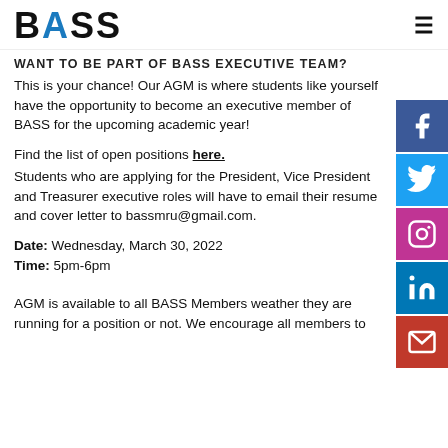BASS
WANT TO BE PART OF BASS EXECUTIVE TEAM?
This is your chance! Our AGM is where students like yourself have the opportunity to become an executive member of BASS for the upcoming academic year!
Find the list of open positions here.
Students who are applying for the President, Vice President and Treasurer executive roles will have to email their resume and cover letter to bassmru@gmail.com.
Date: Wednesday, March 30, 2022
Time: 5pm-6pm
AGM is available to all BASS Members weather they are running for a position or not. We encourage all members to